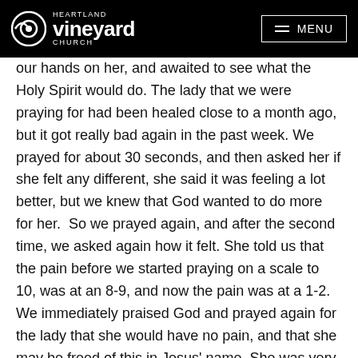Heartland Vineyard Church — MENU
our hands on her, and awaited to see what the Holy Spirit would do. The lady that we were praying for had been healed close to a month ago, but it got really bad again in the past week. We prayed for about 30 seconds, and then asked her if she felt any different, she said it was feeling a lot better, but we knew that God wanted to do more for her. So we prayed again, and after the second time, we asked again how it felt. She told us that the pain before we started praying on a scale to 10, was at an 8-9, and now the pain was at a 1-2. We immediately praised God and prayed again for the lady that she would have no pain, and that she may be freed of this in Jesus' name. She was very